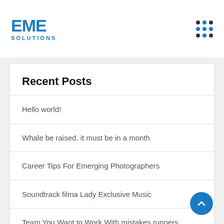EME SOLUTIONS
Recent Posts
Hello world!
Whale be raised, it must be in a month
Career Tips For Emerging Photographers
Soundtrack filma Lady Exclusive Music
Team You Want to Work With mistakes runners